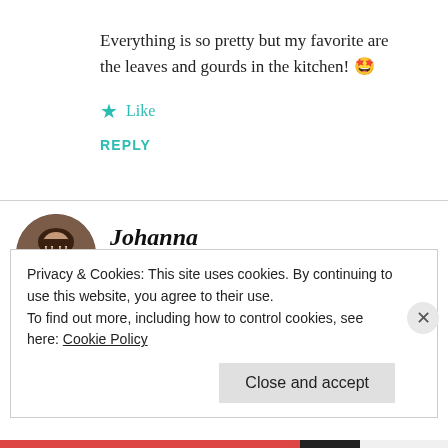Everything is so pretty but my favorite are the leaves and gourds in the kitchen! 🤩
★ Like
REPLY
Johanna
NOVEMBER 3, 2021 AT 6:34 AM
Privacy & Cookies: This site uses cookies. By continuing to use this website, you agree to their use.
To find out more, including how to control cookies, see here: Cookie Policy
Close and accept